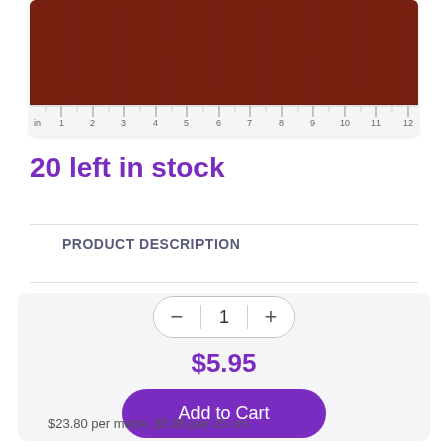[Figure (photo): Close-up of dark red/maroon fabric swatch with a ruler along the bottom showing measurements from 'in' to 12 inches]
20 left in stock
PRODUCT DESCRIPTION
1
$5.95
Add to Cart
$23.80 per metre, $5.95 per 25 cm.